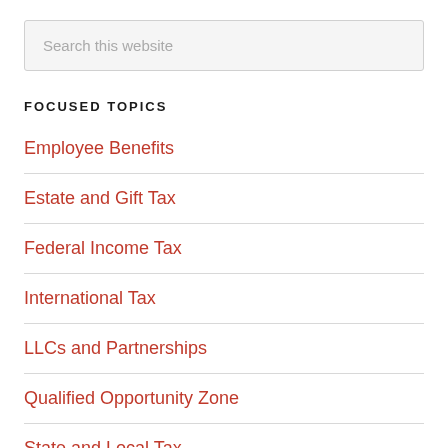Search this website
FOCUSED TOPICS
Employee Benefits
Estate and Gift Tax
Federal Income Tax
International Tax
LLCs and Partnerships
Qualified Opportunity Zone
State and Local Tax